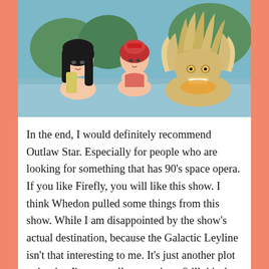[Figure (illustration): Anime screenshot showing three characters bathing in what appears to be a hot spring or body of water. One character has long black hair with a towel on their shoulder, another has red/orange hair, and a third character with large spiky light-colored hair and distinctive markings is visible in the background.]
In the end, I would definitely recommend Outlaw Star. Especially for people who are looking for something that has 90's space opera. If you like Firefly, you will like this show. I think Whedon pulled some things from this show. While I am disappointed by the show's actual destination, because the Galactic Leyline isn't that interesting to me. It's just another plot point that I've seen all over anime. Still, it's the journey not the